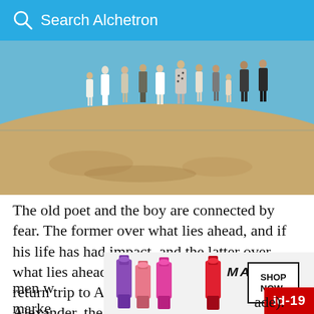Search Alchetron
[Figure (photo): A group of people standing on a sandy dune or hill against a clear blue sky. The group includes men and women dressed in various outfits, some in white, some in formal wear. A movie still or documentary photograph.]
The old poet and the boy are connected by fear. The former over what lies ahead, and if his life has had impact, and the latter over what lies ahead in his — especially a perilous return trip to Albania where, as he explains to Alexander, the path over the mountains is lined with land mines, as well as men w[ith guns who will shoot anyone who tries to cross — a dark, bloody trade).
[Figure (illustration): Advertisement overlay: MAC Cosmetics ad with lipstick tubes in purple, pink, and red, MAC logo, SHOP NOW button, and an id-19 badge in red.]